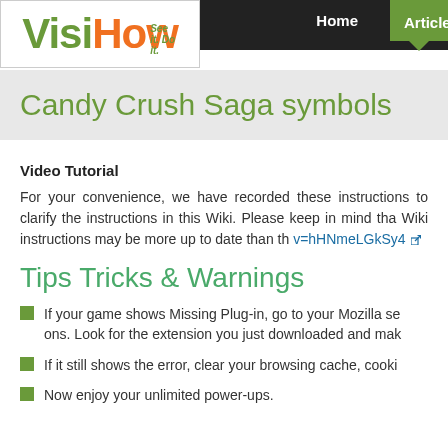VisiHow — See it. Do it. | Home | Articles
Candy Crush Saga symbols
Video Tutorial
For your convenience, we have recorded these instructions to clarify the instructions in this Wiki. Please keep in mind that Wiki instructions may be more up to date than the video. v=hHNmeLGkSy4
Tips Tricks & Warnings
If your game shows Missing Plug-in, go to your Mozilla settings. Look for the extension you just downloaded and make sure it is enabled.
If it still shows the error, clear your browsing cache, cookies and history.
Now enjoy your unlimited power-ups.